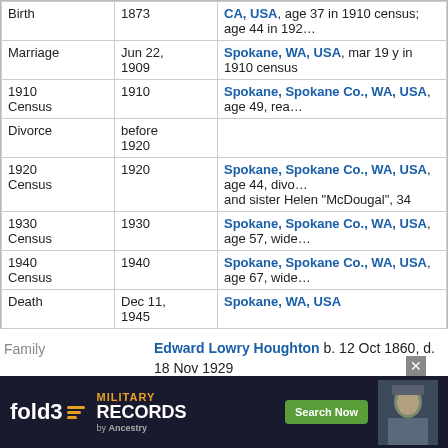| Event | Date | Location/Details |
| --- | --- | --- |
| Birth | 1873 | CA, USA, age 37 in 1910 census; age 44 in 192... |
| Marriage | Jun 22, 1909 | Spokane, WA, USA, mar 19 y in 1910 census |
| 1910 Census | 1910 | Spokane, Spokane Co., WA, USA, age 49, rea... |
| Divorce | before 1920 |  |
| 1920 Census | 1920 | Spokane, Spokane Co., WA, USA, age 44, divo... and sister Helen "McDougal", 34 |
| 1930 Census | 1930 | Spokane, Spokane Co., WA, USA, age 57, wide... |
| 1940 Census | 1940 | Spokane, Spokane Co., WA, USA, age 67, wide... |
| Death | Dec 11, 1945 | Spokane, WA, USA |
Family
Edward Lowry Houghton b. 12 Oct 1860, d. 18 Nov 1929
Marriage*
Margaret McDouall married Edward Lowry Houghton, son of William Houghton and Dorcas L. Cutts, on Jun 22, 1909 at Spokane, WA, USA, mar 19 y in 1910 census.
Divorce
Child